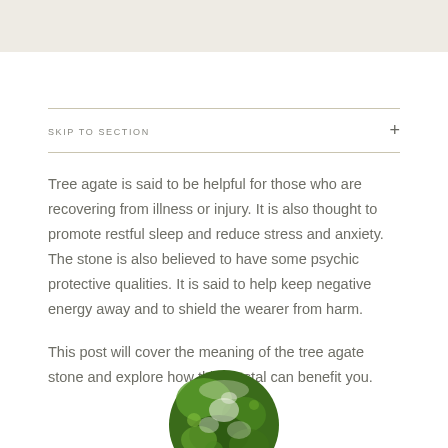SKIP TO SECTION
Tree agate is said to be helpful for those who are recovering from illness or injury. It is also thought to promote restful sleep and reduce stress and anxiety. The stone is also believed to have some psychic protective qualities. It is said to help keep negative energy away and to shield the wearer from harm.
This post will cover the meaning of the tree agate stone and explore how this crystal can benefit you.
[Figure (photo): Circular cropped photo of a tree agate stone showing green and white mineral patterns]